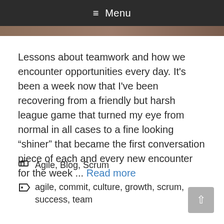≡ Menu
Lessons about teamwork and how we encounter opportunities every day. It's been a week now that I've been recovering from a friendly but harsh league game that turned my eye from normal in all cases to a fine looking “shiner” that became the first conversation piece of each and every new encounter for the week ... Read more
Agile, Blog, Scrum
agile, commit, culture, growth, scrum, success, team